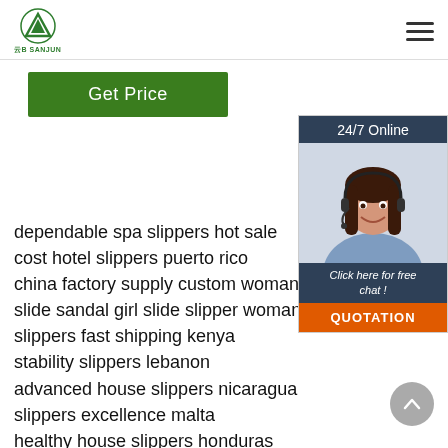[Figure (logo): Green triangle/mountain logo with Chinese text brand name 'SANJUN']
[Figure (other): Hamburger menu icon (three horizontal lines) in top right]
[Figure (other): Green 'Get Price' button]
[Figure (other): Sidebar widget: '24/7 Online' header in dark blue, photo of woman with headset smiling, 'Click here for free chat!' text, orange QUOTATION button]
dependable spa slippers hot sale
cost hotel slippers puerto rico
china factory supply custom woman p
slide sandal girl slide slipper woman
slippers fast shipping kenya
stability slippers lebanon
advanced house slippers nicaragua
slippers excellence malta
healthy house slippers honduras
dependable hotel slippers pakistan
birkenstock men s slippers
[Figure (other): Gray circular scroll-to-top button with upward chevron arrow]